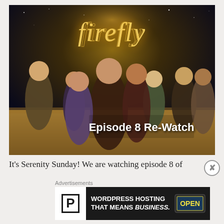[Figure (photo): Promotional image for the TV show Firefly showing cast members standing together against a desert and starry sky background, with the Firefly logo at the top and text 'Episode 8 Re-Watch' overlaid in white bold text at the bottom center.]
It's Serenity Sunday! We are watching episode 8 of
Advertisements
[Figure (screenshot): Advertisement banner for WordPress Hosting. Left side shows white background with a bold P icon. Center shows dark background with text 'WORDPRESS HOSTING THAT MEANS BUSINESS.' Right side shows a photo of an 'OPEN' sign.]